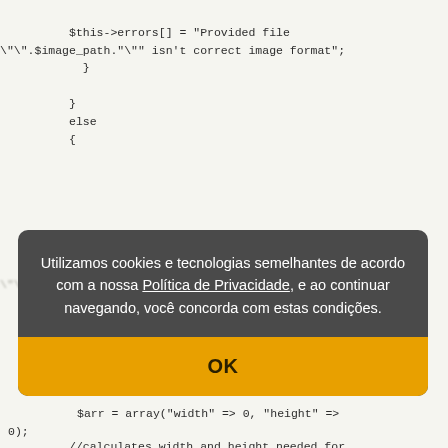[Figure (screenshot): A code editor screenshot showing PHP code with a cookie consent modal overlay. The modal contains Portuguese text about cookies and privacy policy, with an OK button. The background shows PHP code snippets about image validation and array operations.]
Utilizamos cookies e tecnologias semelhantes de acordo com a nossa Política de Privacidade, e ao continuar navegando, você concorda com estas condições.